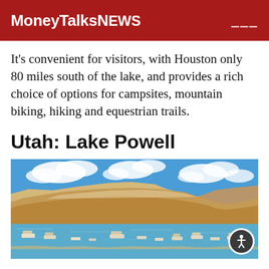MoneyTalksNews
It’s convenient for visitors, with Houston only 80 miles south of the lake, and provides a rich choice of options for campsites, mountain biking, hiking and equestrian trails.
Utah: Lake Powell
[Figure (photo): Aerial view of Lake Powell with houseboats and recreational boats on bright blue water, surrounded by dramatic tan sandstone cliffs and mesas under a partly cloudy blue sky.]